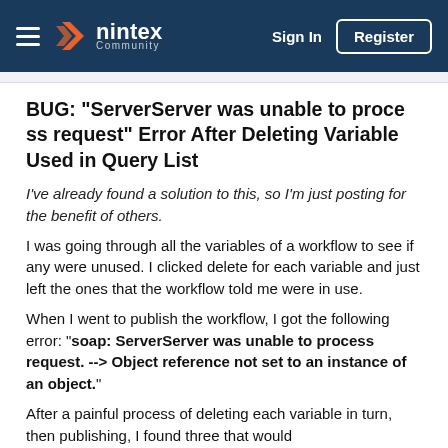nintex Community | Sign In | Register
BUG: "ServerServer was unable to process request" Error After Deleting Variable Used in Query List
I've already found a solution to this, so I'm just posting for the benefit of others.
I was going through all the variables of a workflow to see if any were unused. I clicked delete for each variable and just left the ones that the workflow told me were in use.
When I went to publish the workflow, I got the following error: "soap: ServerServer was unable to process request. --> Object reference not set to an instance of an object."
After a painful process of deleting each variable in turn, then publishing, I found three that would cause this error when deleted. Al...